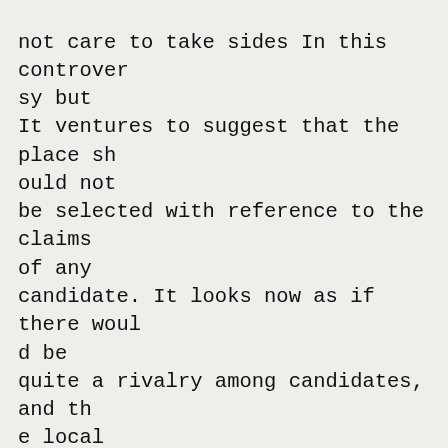not care to take sides In this controversy but
It ventures to suggest that the place should not
be selected with reference to the claims of any
candidate. It looks now as if there would be
quite a rivalry among candidates, and the local
environment of tha convention ought to give
courteous treatment to the various aspirants.
The first thing to be considered is the accommo
dation of the visitors. No city should be selected
unless it is able to furnish the necessa
ry hotel